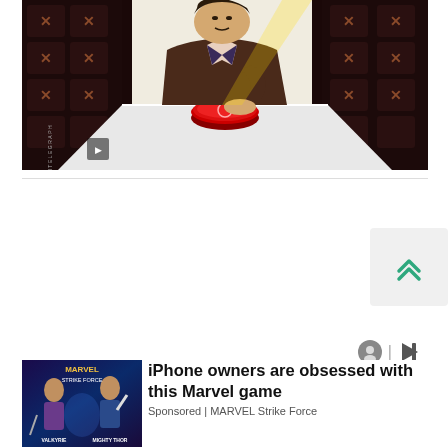[Figure (illustration): Illustration of a man in a suit pressing a large red button on a white table, surrounded by shelves of crypto mining hardware, with dramatic red lighting. Cointelegraph watermark on left side.]
[Figure (screenshot): Advertisement: iPhone owners are obsessed with this Marvel game - Sponsored | MARVEL Strike Force, with game artwork showing Valkyrie and Mighty Thor characters.]